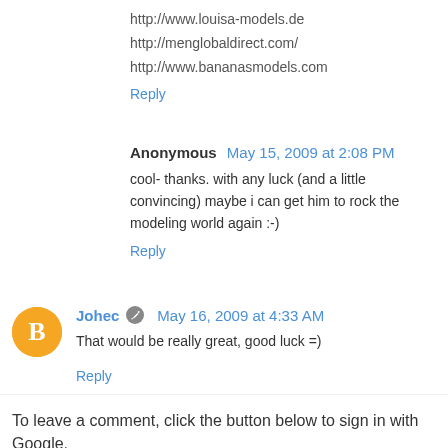http://www.louisa-models.de
http://menglobaldirect.com/
http://www.bananasmodels.com
Reply
Anonymous May 15, 2009 at 2:08 PM
cool- thanks. with any luck (and a little convincing) maybe i can get him to rock the modeling world again :-)
Reply
Johec May 16, 2009 at 4:33 AM
That would be really great, good luck =)
Reply
To leave a comment, click the button below to sign in with Google.
SIGN IN WITH GOOGLE